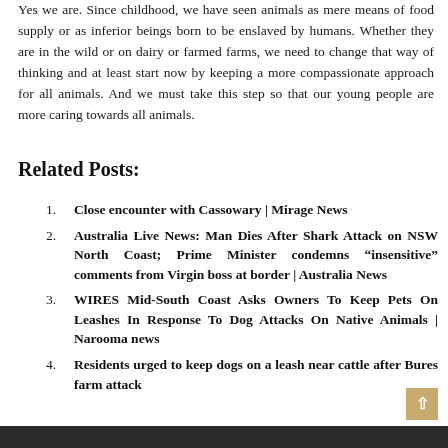Yes we are. Since childhood, we have seen animals as mere means of food supply or as inferior beings born to be enslaved by humans. Whether they are in the wild or on dairy or farmed farms, we need to change that way of thinking and at least start now by keeping a more compassionate approach for all animals. And we must take this step so that our young people are more caring towards all animals.
Related Posts:
Close encounter with Cassowary | Mirage News
Australia Live News: Man Dies After Shark Attack on NSW North Coast; Prime Minister condemns “insensitive” comments from Virgin boss at border | Australia News
WIRES Mid-South Coast Asks Owners To Keep Pets On Leashes In Response To Dog Attacks On Native Animals | Narooma news
Residents urged to keep dogs on a leash near cattle after Bures farm attack